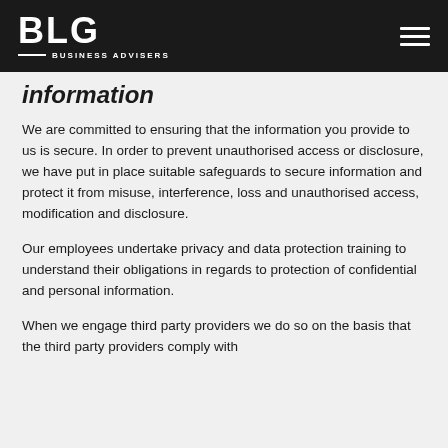BLG BUSINESS ADVISERS
information
We are committed to ensuring that the information you provide to us is secure. In order to prevent unauthorised access or disclosure, we have put in place suitable safeguards to secure information and protect it from misuse, interference, loss and unauthorised access, modification and disclosure.
Our employees undertake privacy and data protection training to understand their obligations in regards to protection of confidential and personal information.
When we engage third party providers we do so on the basis that the third party providers comply with